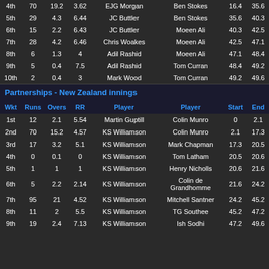| Wkt | Runs | Overs | RR | Player | Player | Start | End |
| --- | --- | --- | --- | --- | --- | --- | --- |
| 4th | 70 | 19.2 | 3.62 | EJG Morgan | Ben Stokes | 16.4 | 35.6 |
| 5th | 29 | 4.3 | 6.44 | JC Buttler | Ben Stokes | 35.6 | 40.3 |
| 6th | 15 | 2.2 | 6.43 | JC Buttler | Moeen Ali | 40.3 | 42.5 |
| 7th | 28 | 4.2 | 6.46 | Chris Woakes | Moeen Ali | 42.5 | 47.1 |
| 8th | 6 | 1.3 | 4 | Adil Rashid | Moeen Ali | 47.1 | 48.4 |
| 9th | 5 | 0.4 | 7.5 | Adil Rashid | Tom Curran | 48.4 | 49.2 |
| 10th | 2 | 0.4 | 3 | Mark Wood | Tom Curran | 49.2 | 49.6 |
Partnerships - New Zealand innings
| Wkt | Runs | Overs | RR | Player | Player | Start | End |
| --- | --- | --- | --- | --- | --- | --- | --- |
| 1st | 12 | 2.1 | 5.54 | Martin Guptill | Colin Munro | 0 | 2.1 |
| 2nd | 70 | 15.2 | 4.57 | KS Williamson | Colin Munro | 2.1 | 17.3 |
| 3rd | 17 | 3.2 | 5.1 | KS Williamson | Mark Chapman | 17.3 | 20.5 |
| 4th | 0 | 0.1 | 0 | KS Williamson | Tom Latham | 20.5 | 20.6 |
| 5th | 1 | 1 | 1 | KS Williamson | Henry Nicholls | 20.6 | 21.6 |
| 6th | 5 | 2.2 | 2.14 | KS Williamson | Colin de Grandhomme | 21.6 | 24.2 |
| 7th | 95 | 21 | 4.52 | KS Williamson | Mitchell Santner | 24.2 | 45.2 |
| 8th | 11 | 2 | 5.5 | KS Williamson | TG Southee | 45.2 | 47.2 |
| 9th | 19 | 2.4 | 7.13 | KS Williamson | Ish Sodhi | 47.2 | 49.6 |